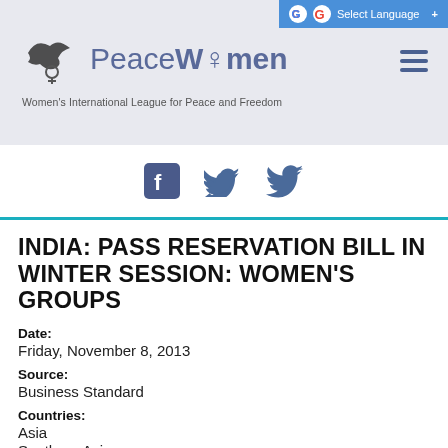PeaceWomen — Women's International League for Peace and Freedom
[Figure (logo): PeaceWomen logo with dove and female symbol, text reads 'PeaceWomen' and 'Women's International League for Peace and Freedom']
[Figure (screenshot): Facebook and Twitter social media icons]
INDIA: PASS RESERVATION BILL IN WINTER SESSION: WOMEN'S GROUPS
Date:
Friday, November 8, 2013
Source:
Business Standard
Countries:
Asia
Southern Asia